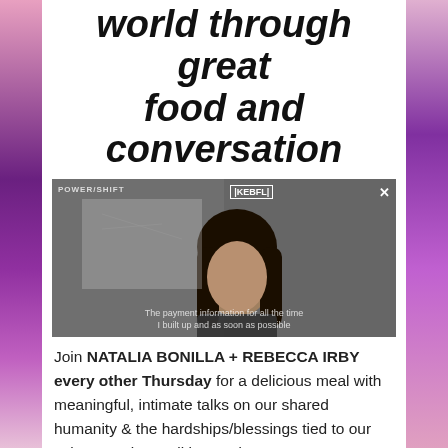world through great food and conversation
[Figure (photo): Video screenshot of a person with long dark hair appearing on a video call, with text overlays including 'POWER/SHIFT' and 'REBEL' in the background, and an X close button in the top right corner.]
Join NATALIA BONILLA + REBECCA IRBY every other Thursday for a delicious meal with meaningful, intimate talks on our shared humanity & the hardships/blessings tied to our culture, nation, politics, and current events. We welcome you to join us